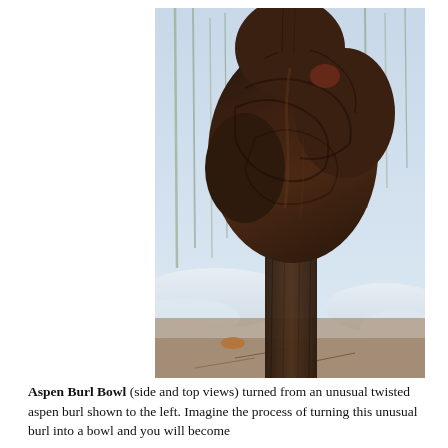[Figure (photo): Photograph of a large dark twisted aspen burl growing on a tree trunk, surrounded by snow and bare trees in a winter forest setting.]
Aspen Burl Bowl (side and top views) turned from an unusual twisted aspen burl shown to the left. Imagine the process of turning this unusual burl into a bowl and you will become